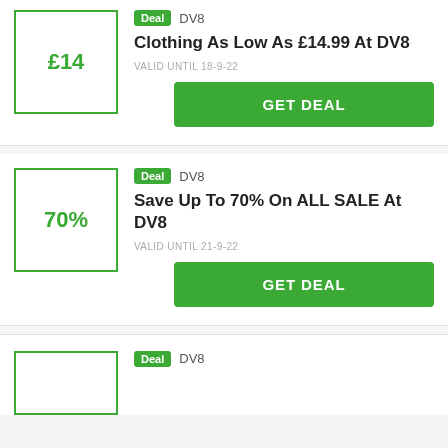Deal  DV8
Clothing As Low As £14.99 At DV8
VALID UNTIL 18-9-22
GET DEAL
Deal  DV8
Save Up To 70% On ALL SALE At DV8
VALID UNTIL 21-9-22
GET DEAL
Deal  DV8